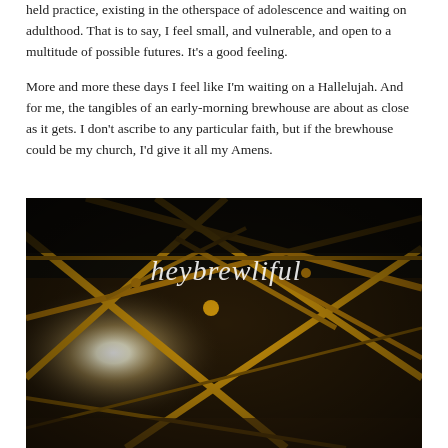held practice, existing in the otherspace of adolescence and waiting on adulthood. That is to say, I feel small, and vulnerable, and open to a multitude of possible futures. It's a good feeling.
More and more these days I feel like I'm waiting on a Hallelujah. And for me, the tangibles of an early-morning brewhouse are about as close as it gets. I don't ascribe to any particular faith, but if the brewhouse could be my church, I'd give it all my Amens.
[Figure (photo): Interior photo of a brewhouse ceiling with yellow/gold structural steel beams and trusses crossing diagonally against a dark background, with bright light shining through a window on the left side. White cursive text overlay reads 'heybrewliful'.]